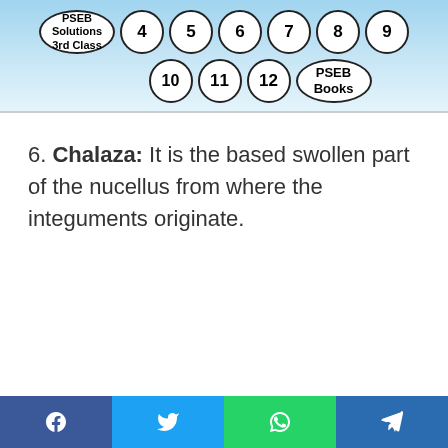PSEB Solutions 3rd Class | 4 | 5 | 6 | 7 | 8 | 9 | 10 | 11 | 12 | PSEB Books
6. Chalaza: It is the based swollen part of the nucellus from where the integuments originate.
Facebook | Twitter | WhatsApp | Telegram